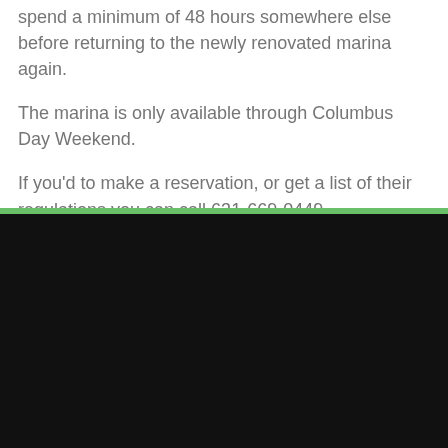spend a minimum of 48 hours somewhere else before returning to the newly renovated marina again.
The marina is only available through Columbus Day Weekend.
If you'd to make a reservation, or get a list of their regulations you can call 631-669-0449
[Figure (photo): Black background section, possibly a photo or dark content area]